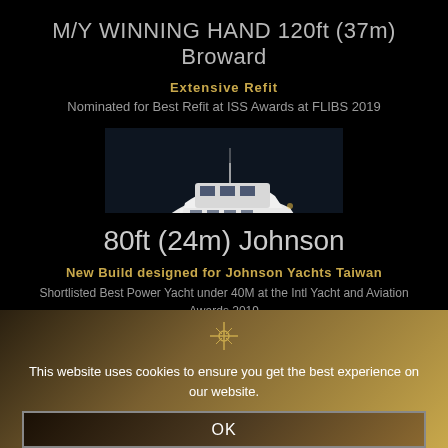M/Y WINNING HAND 120ft (37m) Broward
Extensive Refit
Nominated for Best Refit at ISS Awards at FLIBS 2019
[Figure (photo): A white motor yacht photographed at night or dusk on dark water, shot from a low angle showing the vessel underway]
80ft (24m) Johnson
New Build designed for Johnson Yachts Taiwan
Shortlisted Best Power Yacht under 40M at the Intl Yacht and Aviation Awards 2019
This website uses cookies to ensure you get the best experience on our website.
OK